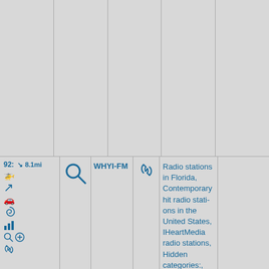[Figure (screenshot): Upper grid area with 5 columns separated by vertical lines, empty content with gray textured background]
| #/dist | search | name | link | categories | extra |
| --- | --- | --- | --- | --- | --- |
| 92: ↘ 8.1mi [helicopter] [turn] [car] [spiral] [chart] [search] [+] [link] | [search icon] | WHYI-FM | [link icon] | Radio stations in Florida, Contemporary hit radio stations in the United States, IHeartMedia radio stations, Hidden categories:, Coordinates |  |